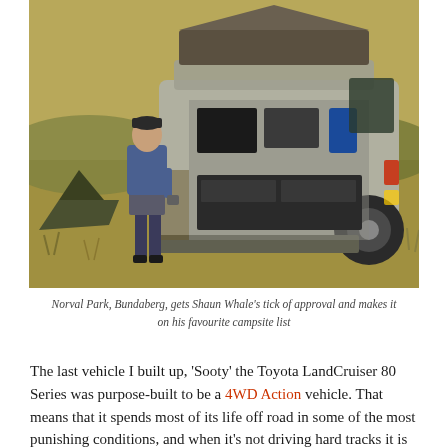[Figure (photo): A man in a blue shirt and dark shorts stands beside a silver/grey Toyota LandCruiser 80 Series with its rear tailgate open, showing storage drawers and gear inside. A rooftop tent is visible on the roof. The vehicle is parked on dry grass/scrubland. This is Norval Park, Bundaberg.]
Norval Park, Bundaberg, gets Shaun Whale's tick of approval and makes it on his favourite campsite list
The last vehicle I built up, 'Sooty' the Toyota LandCruiser 80 Series was purpose-built to be a 4WD Action vehicle. That means that it spends most of its life off road in some of the most punishing conditions, and when it's not driving hard tracks it is